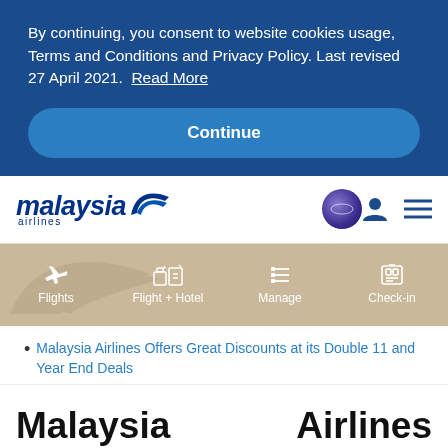By continuing, you consent to website cookies usage, Terms and Conditions and Privacy Policy. Last revised 27 April 2021. Read More
Continue
[Figure (logo): Malaysia Airlines logo with stylized bird wing and 'malaysia airlines' wordmark]
[Figure (logo): Oneworld alliance purple circular badge]
[Figure (infographic): Navigation bar with four tabs: Flights, Flight + Hotel, Manage, Check-in, each with icons on a tan/beige background]
Malaysia Airlines Offers Great Discounts at its Double 11 and Year End Deals
Malaysia Airlines Offers Great Discounts at its Double 11 and